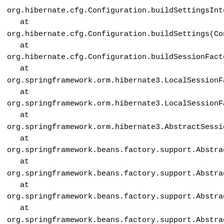org.hibernate.cfg.Configuration.buildSettingsInternal(Configuratio
    at
org.hibernate.cfg.Configuration.buildSettings(Configuration.java:2
    at
org.hibernate.cfg.Configuration.buildSessionFactory(Configuratio
    at
org.springframework.orm.hibernate3.LocalSessionFactoryBean.n
    at
org.springframework.orm.hibernate3.LocalSessionFactoryBean.b
    at
org.springframework.orm.hibernate3.AbstractSessionFactoryBea
    at
org.springframework.beans.factory.support.AbstractAutowireCap
    at
org.springframework.beans.factory.support.AbstractAutowireCap
    at
org.springframework.beans.factory.support.AbstractAutowireCap
    at
org.springframework.beans.factory.support.AbstractAutowireCap
    at
org.springframework.beans.factory.support.AbstractBeanFactoryS